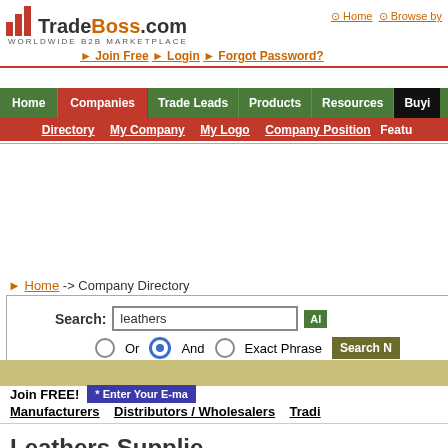[Figure (logo): TradeBoss.com logo with bar chart icon and 'WORLDWIDE B2B MARKETPLACE' tagline]
Home   Browse by
► Join Free  ► Login  ► Forgot Password?
Home  Companies  Trade Leads  Products  Resources  Buying
Directory  My Company  My Logo  Company Position  Featur
Home -> Company Directory
Search: leathers   Or  And  Exact Phrase  Search N
TradeBoss.
Join FREE!  * Enter Your E-ma   Email Add
Manufacturers  Distributors / Wholesalers  Tradi
3,046 Companies found that match
Results for: "leathers"
Leathers Supplie